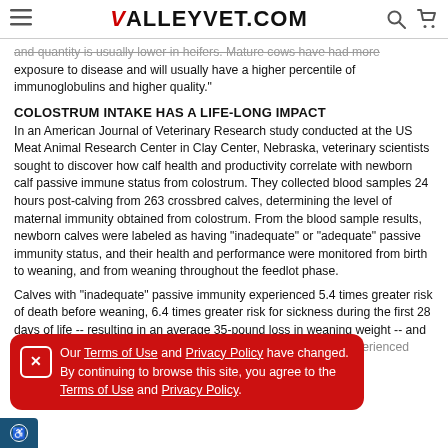VALLEYVET.COM
and quantity is usually lower in heifers. Mature cows have had more exposure to disease and will usually have a higher percentile of immunoglobulins and higher quality."
COLOSTRUM INTAKE HAS A LIFE-LONG IMPACT
In an American Journal of Veterinary Research study conducted at the US Meat Animal Research Center in Clay Center, Nebraska, veterinary scientists sought to discover how calf health and productivity correlate with newborn calf passive immune status from colostrum. They collected blood samples 24 hours post-calving from 263 crossbred calves, determining the level of maternal immunity obtained from colostrum. From the blood sample results, newborn calves were labeled as having “inadequate” or “adequate” passive immunity status, and their health and performance were monitored from birth to weaning, and from weaning throughout the feedlot phase.
Calves with “inadequate” passive immunity experienced 5.4 times greater risk of death before weaning, 6.4 times greater risk for sickness during the first 28 days of life -- resulting in an average 35-pound loss in weaning weight -- and 3.2 times greater risk of sickness before weaning. For those calves that did survive... experienced t..., when d...
Our Terms of Use and Privacy Policy have changed. By continuing to browse this site, you agree to the Terms of Use and Privacy Policy.